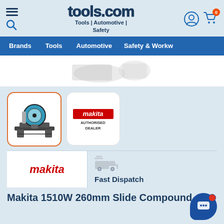tools.com — Tools | Automotive | Safety
[Figure (screenshot): tools.com website header with logo, hamburger menu, search icon, user icon, and cart icon with 0 items]
[Figure (screenshot): Navigation bar with: Brands, Tools, Automotive, Safety & Workw...]
[Figure (photo): Partial product image at top — miter saw tools partially visible]
[Figure (photo): Product card with miter saw image, orange border]
[Figure (logo): Makita Authorised Dealer badge]
[Figure (logo): Makita brand logo in white box]
[Figure (illustration): Fast dispatch truck icon in light grey]
Fast Dispatch
Makita 1510W 260mm Slide Compound...